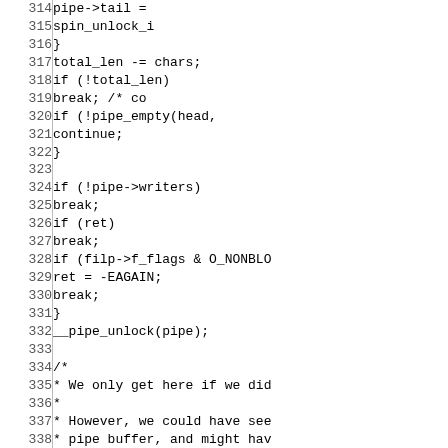[Figure (other): Source code listing (C code) with line numbers 314–343, showing pipe-related kernel code including pipe->tail, spin_unlock_i, total_len -= chars, if checks, break statements, continue, pipe_empty, pipe->writers, filp->f_flags & O_NONBLO, ret = -EAGAIN, __pipe_unlock(pipe), and a block comment about zero-sized writes and EFAULT.]